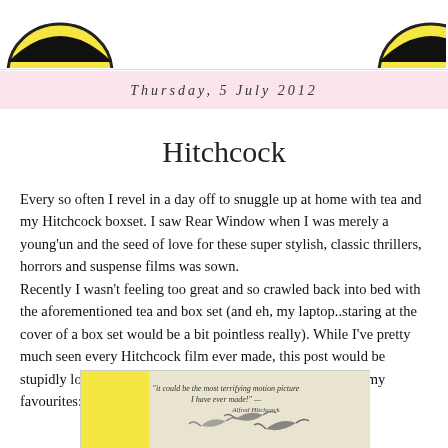Thursday, 5 July 2012
Hitchcock
Every so often I revel in a day off to snuggle up at home with tea and my Hitchcock boxset. I saw Rear Window when I was merely a young'un and the seed of love for these super stylish, classic thrillers, horrors and suspense films was sown.
Recently I wasn't feeling too great and so crawled back into bed with the aforementioned tea and box set (and eh, my laptop..staring at the cover of a box set would be a bit pointless really). While I've pretty much seen every Hitchcock film ever made, this post would be stupidly long if I went through them all, so instead here are my favourites:
[Figure (illustration): Movie poster or promotional image for a Hitchcock film, featuring a yellow rectangle on the left, birds in flight, and text reading 'it could be the most terrifying motion picture I have ever made!']